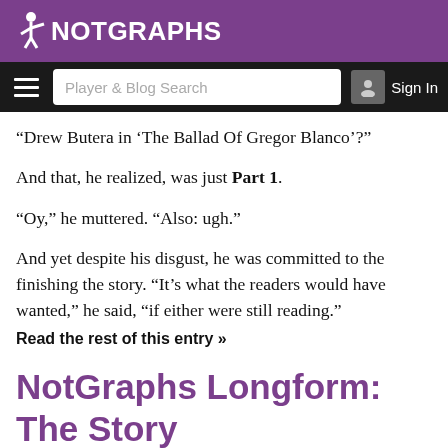NOTGRAPHS
Player & Blog Search  Sign In
“Drew Butera in ‘The Ballad Of Gregor Blanco’?”
And that, he realized, was just Part 1.
“Oy,” he muttered. “Also: ugh.”
And yet despite his disgust, he was committed to the finishing the story. “It’s what the readers would have wanted,” he said, “if either were still reading.”
Read the rest of this entry »
NotGraphs Longform: The Story